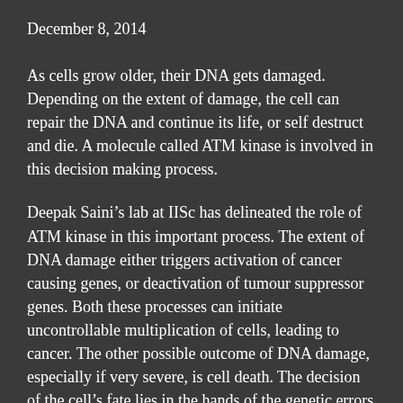December 8, 2014
As cells grow older, their DNA gets damaged. Depending on the extent of damage, the cell can repair the DNA and continue its life, or self destruct and die. A molecule called ATM kinase is involved in this decision making process.
Deepak Saini’s lab at IISc has delineated the role of ATM kinase in this important process. The extent of DNA damage either triggers activation of cancer causing genes, or deactivation of tumour suppressor genes. Both these processes can initiate uncontrollable multiplication of cells, leading to cancer. The other possible outcome of DNA damage, especially if very severe, is cell death. The decision of the cell’s fate lies in the hands of the genetic errors accumulated. If the errors cannot be repaired, or can be detrimental if